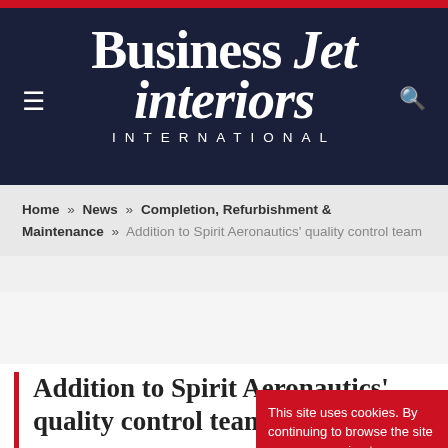Business Jet interiors INTERNATIONAL
Home » News » Completion, Refurbishment & Maintenance » Addition to Spirit Aeronautics' quality control team
Addition to Spirit Aeronautics' quality control team
BY IZZY KINGTON ON 27TH FEBRUARY 2015
Merritt 'Ke…
This site uses cookies. By continuing to browse the site you are agreeing to our use of cookies. Find out more here [X]